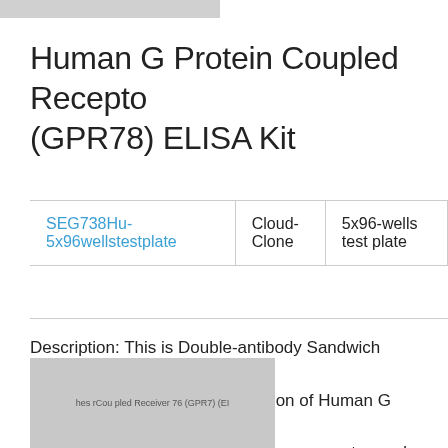Human G Protein Coupled Receptor 78 (GPR78) ELISA Kit
| Product ID | Brand | Size |
| --- | --- | --- |
| SEG738Hu-5x96wellstestplate | Cloud-Clone | 5x96-wells test plate |
Description: This is Double-antibody Sandwich Enzyme-linked immunosorbent assay for detection of Human G Protein Coupled Receptor 78 (GPR78) in Tissue homogenates and other biological fluids.
[Figure (photo): Product image placeholder showing Human G Protein Coupled Receptor 78 (GPR78) ELISA Kit]